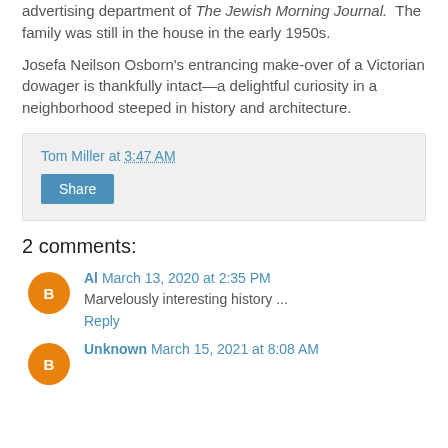advertising department of The Jewish Morning Journal. The family was still in the house in the early 1950s.
Josefa Neilson Osborn’s entrancing make-over of a Victorian dowager is thankfully intact—a delightful curiosity in a neighborhood steeped in history and architecture.
Tom Miller at 3:47 AM
Share
2 comments:
Al March 13, 2020 at 2:35 PM
Marvelously interesting history ...
Reply
Unknown March 15, 2021 at 8:08 AM